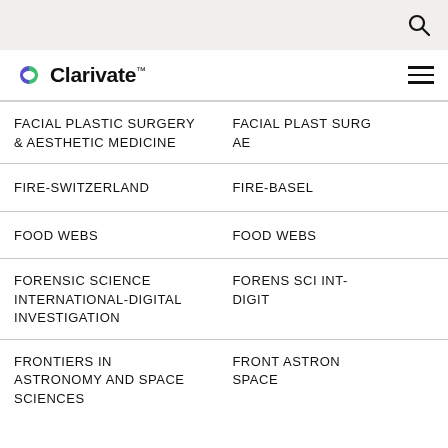Clarivate
| Journal Name | Abbreviation |
| --- | --- |
| FACIAL PLASTIC SURGERY & AESTHETIC MEDICINE | FACIAL PLAST SURG AE |
| FIRE-SWITZERLAND | FIRE-BASEL |
| FOOD WEBS | FOOD WEBS |
| FORENSIC SCIENCE INTERNATIONAL-DIGITAL INVESTIGATION | FORENS SCI INT-DIGIT |
| FRONTIERS IN ASTRONOMY AND SPACE SCIENCES | FRONT ASTRON SPACE |